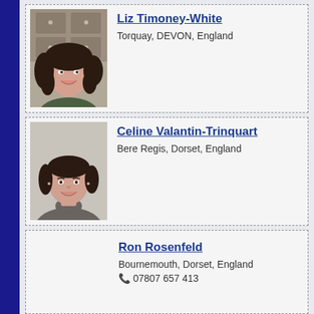[Figure (photo): Profile photo of Liz Timoney-White, a woman with long dark curly hair, smiling, seated in front of a wooden cabinet with small drawers]
Liz Timoney-White
Torquay, DEVON, England
[Figure (photo): Profile photo of Celine Valantin-Trinquart, a woman with dark hair pulled back, wearing a grey turtleneck, smiling]
Celine Valantin-Trinquart
Bere Regis, Dorset, England
Ron Rosenfeld
Bournemouth, Dorset, England
07807 657 413